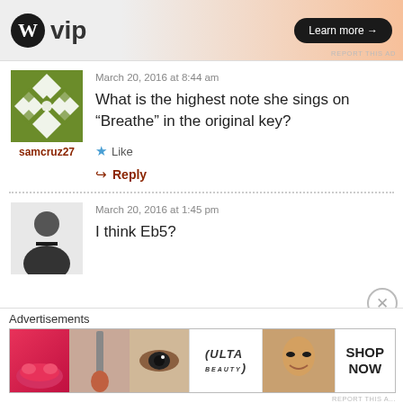[Figure (screenshot): Top advertisement banner with WordPress VIP logo and 'Learn more' button on gradient background. 'REPORT THIS AD' text in bottom right.]
March 20, 2016 at 8:44 am
What is the highest note she sings on “Breathe” in the original key?
Like
Reply
samcruz27
March 20, 2016 at 1:45 pm
I think Eb5?
Advertisements
[Figure (screenshot): Ulta beauty advertisement banner showing makeup images (lips, brush, eye, logo, face) with 'SHOP NOW' text.]